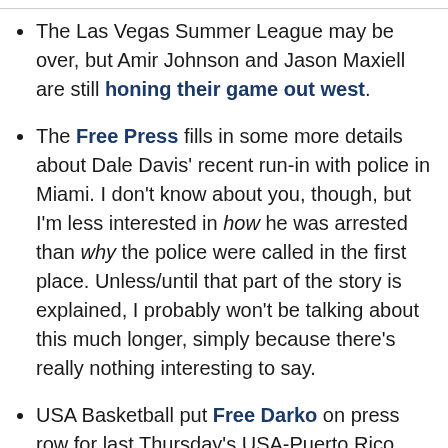The Las Vegas Summer League may be over, but Amir Johnson and Jason Maxiell are still honing their game out west.
The Free Press fills in some more details about Dale Davis' recent run-in with police in Miami. I don't know about you, though, but I'm less interested in how he was arrested than why the police were called in the first place. Unless/until that part of the story is explained, I probably won't be talking about this much longer, simply because there's really nothing interesting to say.
USA Basketball put Free Darko on press row for last Thursday's USA-Puerto Rico exhibition. The resulting photojournalism is worth checking out, and I'm not just saying that because of the Chuck Daly cameo. (Hat tip to True Hoop).